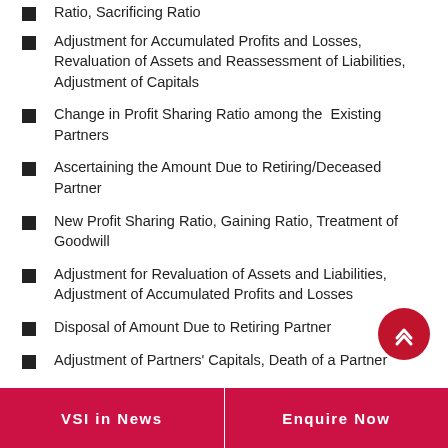Ratio, Sacrificing Ratio (partial)
Adjustment for Accumulated Profits and Losses, Revaluation of Assets and Reassessment of Liabilities, Adjustment of Capitals
Change in Profit Sharing Ratio among the Existing Partners
Ascertaining the Amount Due to Retiring/Deceased Partner
New Profit Sharing Ratio, Gaining Ratio, Treatment of Goodwill
Adjustment for Revaluation of Assets and Liabilities, Adjustment of Accumulated Profits and Losses
Disposal of Amount Due to Retiring Partner
Adjustment of Partners' Capitals, Death of a Partner
VSI in News    Enquire Now